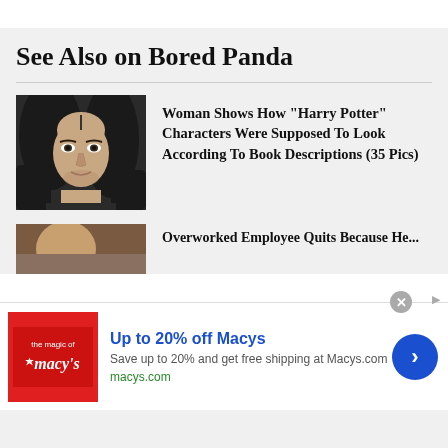See Also on Bored Panda
[Figure (photo): Portrait of a person with long dark hair and defined facial features, dark background]
Woman Shows How "Harry Potter" Characters Were Supposed To Look According To Book Descriptions (35 Pics)
[Figure (photo): Partial view of a second article thumbnail showing a person]
Overworked Employee Quits Because He...
[Figure (infographic): Macy's advertisement banner: Up to 20% off Macys. Save up to 20% and get free shipping at Macys.com. macys.com]